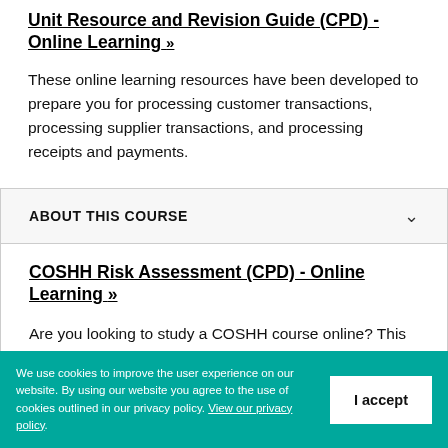Unit Resource and Revision Guide (CPD) - Online Learning »
These online learning resources have been developed to prepare you for processing customer transactions, processing supplier transactions, and processing receipts and payments.
ABOUT THIS COURSE
COSHH Risk Assessment (CPD) - Online Learning »
Are you looking to study a COSHH course online? This short, auto-marked programme will provide you
We use cookies to improve the user experience on our website. By using our website you agree to the use of cookies outlined in our privacy policy. View our privacy policy.